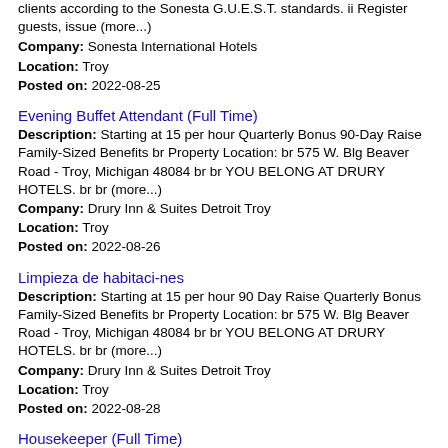clients according to the Sonesta G.U.E.S.T. standards. ii Register guests, issue (more...)
Company: Sonesta International Hotels
Location: Troy
Posted on: 2022-08-25
Evening Buffet Attendant (Full Time)
Description: Starting at 15 per hour Quarterly Bonus 90-Day Raise Family-Sized Benefits br Property Location: br 575 W. Blg Beaver Road - Troy, Michigan 48084 br br YOU BELONG AT DRURY HOTELS. br br (more...)
Company: Drury Inn & Suites Detroit Troy
Location: Troy
Posted on: 2022-08-26
Limpieza de habitaci-nes
Description: Starting at 15 per hour 90 Day Raise Quarterly Bonus Family-Sized Benefits br Property Location: br 575 W. Blg Beaver Road - Troy, Michigan 48084 br br YOU BELONG AT DRURY HOTELS. br br (more...)
Company: Drury Inn & Suites Detroit Troy
Location: Troy
Posted on: 2022-08-28
Housekeeper (Full Time)
Description: Starting at 15 per hour Quarterly Bonus 90-Day Raise Hiring Immediately br Property Location: br 575 W. Blg Beaver Road - Troy, Michigan 48084 br br YOU BELONG AT